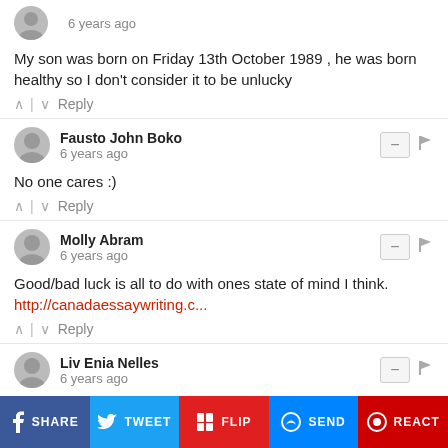6 years ago
My son was born on Friday 13th October 1989 , he was born healthy so I don't consider it to be unlucky
^ | v  Reply
Fausto John Boko
6 years ago
No one cares :)
^ | v  Reply
Molly Abram
6 years ago
Good/bad luck is all to do with ones state of mind I think.
http://canadaessaywriting.c...
^ | v  Reply
Liv Enia Nelles
6 years ago
friday the 13th is associated with the exudos of the Knights of Templars
SHARE  TWEET  FLIP  SEND  REACT